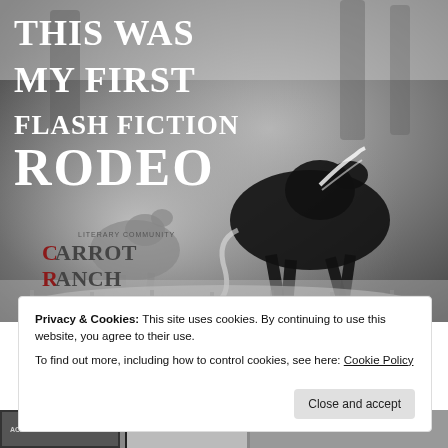[Figure (photo): Black and white photo of horses galloping through dust/mist. Large bold white text overlay reads 'THIS WAS MY FIRST FLASH FICTION RODEO'. Carrot Ranch Literary Community logo and carrotranch.com URL shown in lower left of image.]
Privacy & Cookies: This site uses cookies. By continuing to use this website, you agree to their use.
To find out more, including how to control cookies, see here: Cookie Policy
Close and accept
[Figure (photo): Partial view of book covers at the bottom of the page, partially cropped.]